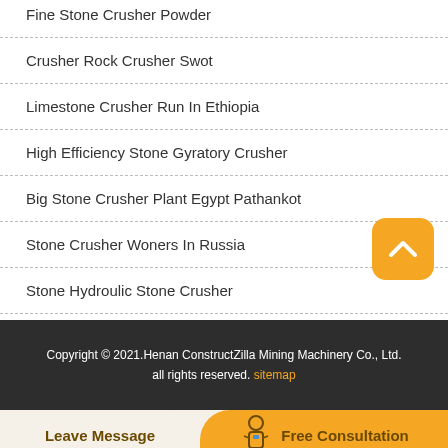Fine Stone Crusher Powder
Crusher Rock Crusher Swot
Limestone Crusher Run In Ethiopia
High Efficiency Stone Gyratory Crusher
Big Stone Crusher Plant Egypt Pathankot
Stone Crusher Woners In Russia
Stone Hydroulic Stone Crusher
Copyright © 2021.Henan ConstructZilla Mining Machinery Co., Ltd. all rights reserved. sitemap
Leave Message
Free Consultation